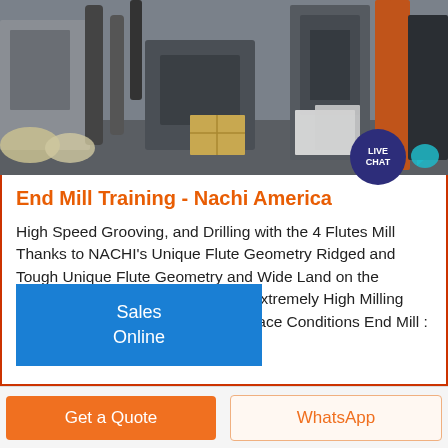[Figure (photo): Industrial factory/warehouse scene with machinery, equipment, and materials in background. Live chat bubble icon in bottom-right corner.]
End Mill Training - Nachi America
High Speed Grooving, and Drilling with the 4 Flutes Mill Thanks to NACHI’s Unique Flute Geometry Ridged and Tough Unique Flute Geometry and Wide Land on the Cutting Edge Tough Cutting Edge Extremely High Milling Speed and Excellent Finishing Surface Conditions End Mill : 10mm Speed : ,
Sales
Online
Get a Quote
WhatsApp